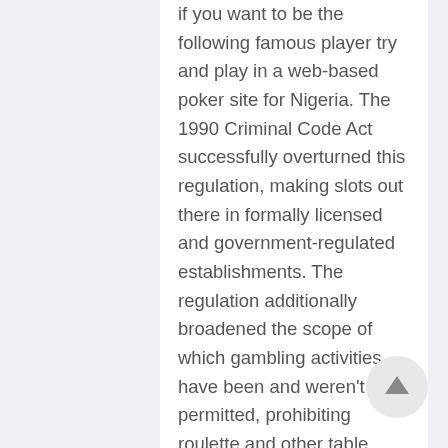if you want to be the following famous player try and play in a web-based poker site for Nigeria. The 1990 Criminal Code Act successfully overturned this regulation, making slots out there in formally licensed and government-regulated establishments. The regulation additionally broadened the scope of which gambling activities have been and weren't permitted, prohibiting roulette and other table choices. Despite this low quantity, the revenues mixed are anticipated to exceed $70 million this yr. With so much revenue being generated from the small betting industry, it might be unsurprising if extra licensed